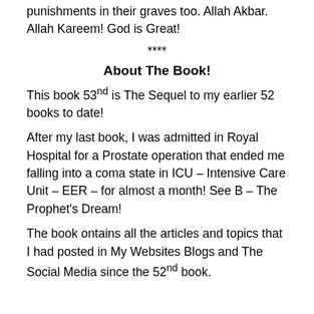punishments in their graves too. Allah Akbar. Allah Kareem! God is Great!
****
About The Book!
This book 53nd is The Sequel to my earlier 52 books to date!
After my last book, I was admitted in Royal Hospital for a Prostate operation that ended me falling into a coma state in ICU – Intensive Care Unit – EER – for almost a month! See B – The Prophet's Dream!
The book ontains all the articles and topics that I had posted in My Websites Blogs and The Social Media since the 52nd book.